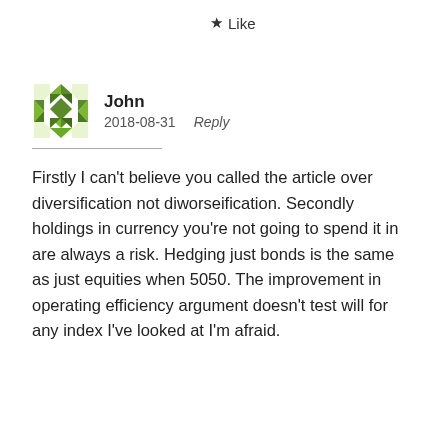★ Like
John
2018-08-31   Reply
Firstly I can't believe you called the article over diversification not diworseification. Secondly holdings in currency you're not going to spend it in are always a risk. Hedging just bonds is the same as just equities when 5050. The improvement in operating efficiency argument doesn't test will for any index I've looked at I'm afraid.